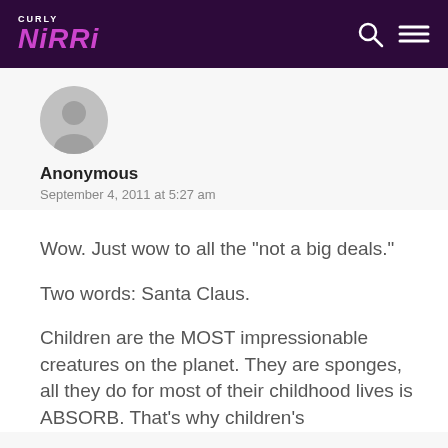CURLY NIKKI
Anonymous
September 4, 2011 at 5:27 am
Wow. Just wow to all the "not a big deals."
Two words: Santa Claus.
Children are the MOST impressionable creatures on the planet. They are sponges, all they do for most of their childhood lives is ABSORB. That's why children's